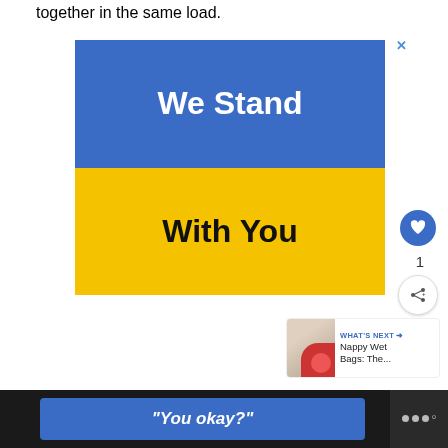together in the same load.
[Figure (illustration): Advertisement banner with Ukrainian flag colors (blue top half, yellow bottom half). Blue section reads 'We Stand' in white bold text; yellow section reads 'With You' in black bold text. Has an X close button in top right corner.]
1
[Figure (infographic): WHAT'S NEXT arrow promo with thumbnail image and text 'Nappy Wet Bags: The...']
[Figure (screenshot): Bottom bar with blue button saying '"You okay?"' and logo with three dots and degree symbol on dark background.]